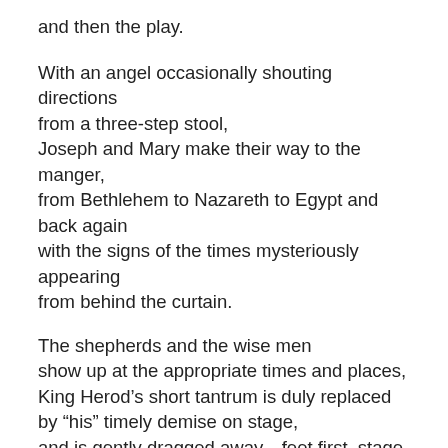and then the play.
With an angel occasionally shouting directions
from a three-step stool,
Joseph and Mary make their way to the manger,
from Bethlehem to Nazareth to Egypt and back again
with the signs of the times mysteriously appearing
from behind the curtain.
The shepherds and the wise men
show up at the appropriate times and places,
King Herod’s short tantrum is duly replaced
by “his” timely demise on stage,
and is gently dragged away—feet first, stage right.
In the telling and retelling,
in the smiles and laughter,
in the coming together of neighbors and kin,